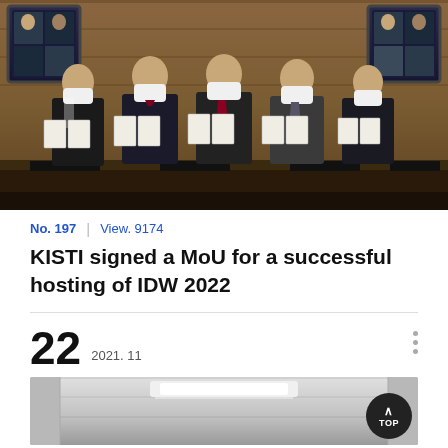[Figure (photo): Group photo of five people in suits wearing face masks, holding MOU documents at a signing ceremony. Wooden panel background with screens on left and right sides showing remote participants. A dark conference table with name plates is in front.]
No. 197  |  View. 9174
KISTI signed a MoU for a successful hosting of IDW 2022
22  2021. 11
[Figure (photo): Partial view of an interior room, likely a conference or exhibition space, showing ceiling with lighting fixtures.]